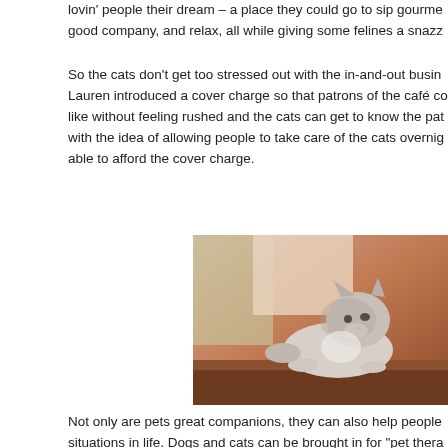lovin' people their dream – a place they could go to sip gourme good company, and relax, all while giving some felines a snazz
So the cats don't get too stressed out with the in-and-out busin Lauren introduced a cover charge so that patrons of the café co like without feeling rushed and the cats can get to know the pat with the idea of allowing people to take care of the cats overnig able to afford the cover charge.
[Figure (photo): A small grey and white kitten lying on a wooden ledge or shelf, looking to the right, with a warm brownish-orange blurred background suggesting an indoor environment with natural light.]
Not only are pets great companions, they can also help people situations in life. Dogs and cats can be brought in for "pet thera with depression, children with autism, and bring comfort to the even been used to ease one's fear of hospitals!